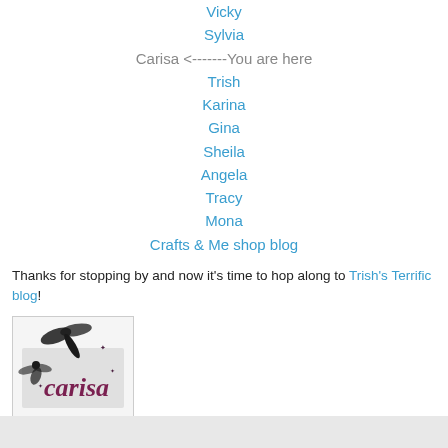Vicky
Sylvia
Carisa <-------You are here
Trish
Karina
Gina
Sheila
Angela
Tracy
Mona
Crafts & Me shop blog
Thanks for stopping by and now it's time to hop along to Trish's Terrific blog!
[Figure (logo): Carisa logo with dragonfly and stylized text 'carisa' with stars]